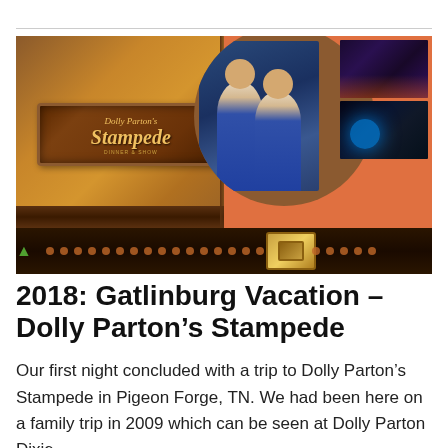[Figure (photo): Composite photo showing Dolly Parton's Stampede souvenir image: left half has leather-textured background with Dolly Parton's Stampede logo sign; right half has orange background with large circle containing a selfie of two young men, and two smaller photos of the arena/show with horses and colorful lighting. A decorative belt strip with dots and a belt buckle runs across the bottom.]
2018: Gatlinburg Vacation – Dolly Parton's Stampede
Our first night concluded with a trip to Dolly Parton's Stampede in Pigeon Forge, TN. We had been here on a family trip in 2009 which can be seen at Dolly Parton Dixie